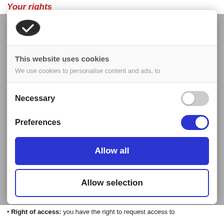Your rights
[Figure (logo): Cookie/Cookiebot logo icon - dark oval cookie shape with white checkmark]
This website uses cookies
We use cookies to personalise content and ads, to
Necessary
Preferences
Allow all
Allow selection
Powered by Cookiebot by Usercentrics
Right of access: you have the right to request access to